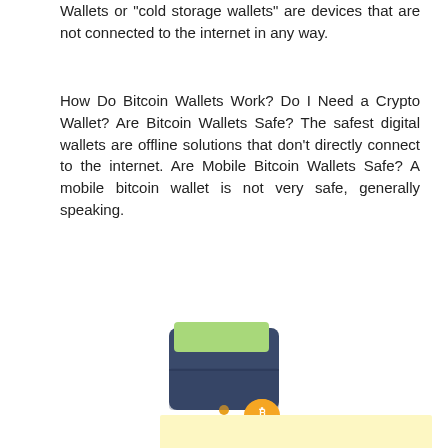Wallets or "cold storage wallets" are devices that are not connected to the internet in any way.
How Do Bitcoin Wallets Work? Do I Need a Crypto Wallet? Are Bitcoin Wallets Safe? The safest digital wallets are offline solutions that don't directly connect to the internet. Are Mobile Bitcoin Wallets Safe? A mobile bitcoin wallet is not very safe, generally speaking.
[Figure (illustration): Illustration of a dark blue bifold wallet with a green card visible inside, and two gold Bitcoin coins (one larger in the foreground with the Bitcoin symbol, one smaller) falling out in front of it.]